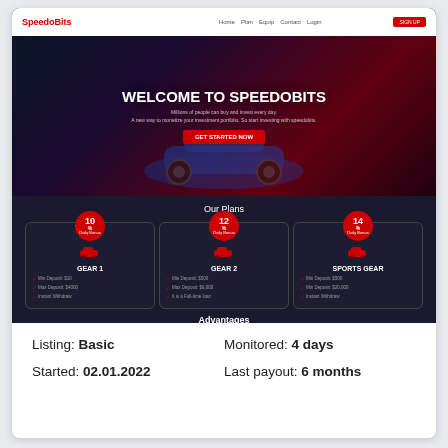[Figure (screenshot): Screenshot of SpeedoBits investment website showing a hero section with 'WELCOME TO SPEEDOBITS' heading, navigation bar, sports car image, and investment plans section showing GEAR 1 (10% daily), GEAR 2 (12% daily), and SPORTS GEAR (14% daily) plan cards on dark background]
Listing: Basic
Monitored: 4 days
Started: 02.01.2022
Last payout: 6 months